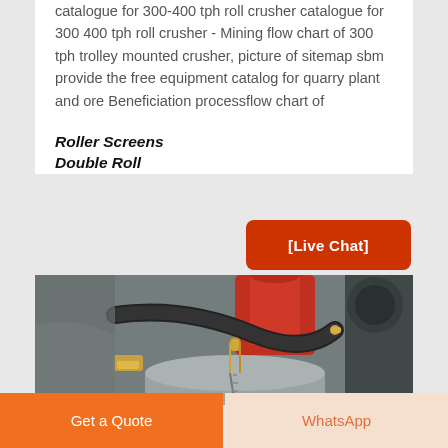catalogue for 300-400 tph roll crusher catalogue for 300 400 tph roll crusher - Mining flow chart of 300 tph trolley mounted crusher, picture of sitemap sbm provide the free equipment catalog for quarry plant and ore Beneficiation processflow chart of
Roller Screens Double Roll
[Figure (photo): Close-up photo of industrial machinery — a double roll crusher or similar equipment, showing red cylindrical component, hydraulic hoses, fittings, and a grey tank/accumulator in the foreground]
[Live Chat]
Get a Quote
WhatsApp